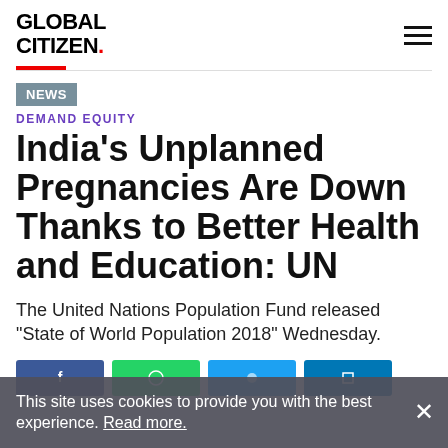GLOBAL CITIZEN.
NEWS
DEMAND EQUITY
India's Unplanned Pregnancies Are Down Thanks to Better Health and Education: UN
The United Nations Population Fund released "State of World Population 2018" Wednesday.
This site uses cookies to provide you with the best experience. Read more.